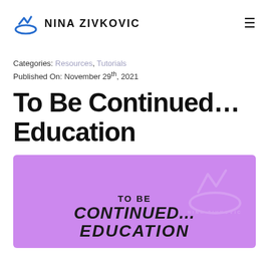NINA ZIVKOVIC
Categories: Resources, Tutorials
Published On: November 29th, 2021
To Be Continued… Education
[Figure (illustration): Purple background promotional image with text 'TO BE CONTINUED... EDUCATION' in bold black italic letters, with a Nina Zivkovic watermark logo in the background.]